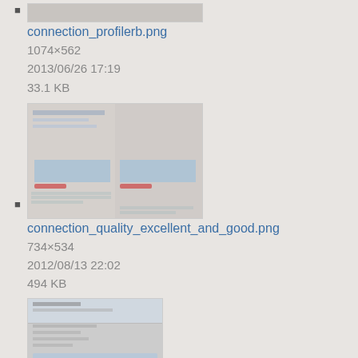connection_profilerb.png
1074×562
2013/06/26 17:19
33.1 KB
connection_quality_excellent_and_good.png
734×534
2012/08/13 22:02
494 KB
connection_quality_excellentgood.png
352×459
2012/08/13 22:16
255.3 KB